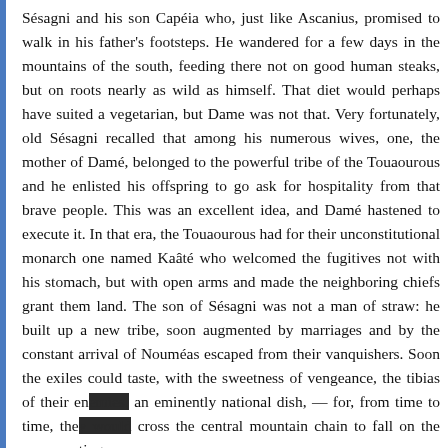Sésagni and his son Capéia who, just like Ascanius, promised to walk in his father's footsteps. He wandered for a few days in the mountains of the south, feeding there not on good human steaks, but on roots nearly as wild as himself. That diet would perhaps have suited a vegetarian, but Dame was not that. Very fortunately, old Sésagni recalled that among his numerous wives, one, the mother of Damé, belonged to the powerful tribe of the Touaourous and he enlisted his offspring to go ask for hospitality from that brave people. This was an excellent idea, and Damé hastened to execute it. In that era, the Touaourous had for their unconstitutional monarch one named Kaâté who welcomed the fugitives not with his stomach, but with open arms and made the neighboring chiefs grant them land. The son of Sésagni was not a man of straw: he built up a new tribe, soon augmented by marriages and by the constant arrival of Nouméas escaped from their vanquishers. Soon the exiles could taste, with the sweetness of vengeance, the tibias of their en[emies,] an eminently national dish, — for, from time to time, the[y would] cross the central mountain chain to fall on the unsuspecting